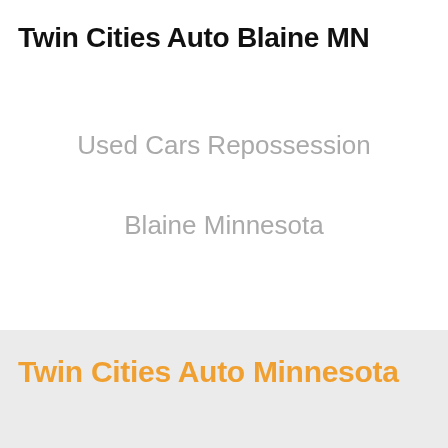Twin Cities Auto Blaine MN
Used Cars Repossession
Blaine Minnesota
Twin Cities Auto Minnesota